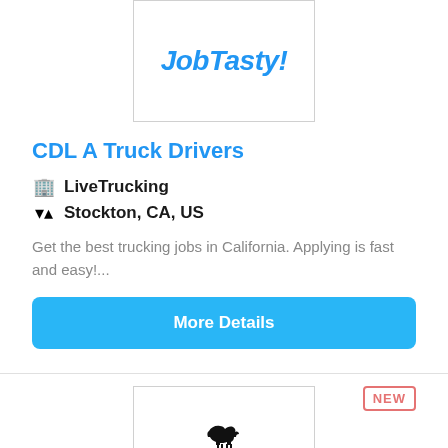[Figure (logo): JobTasty! logo in blue italic bold text inside a bordered box]
CDL A Truck Drivers
LiveTrucking
Stockton, CA, US
Get the best trucking jobs in California. Applying is fast and easy!...
More Details
NEW
[Figure (logo): Western Express, Inc. logo with a running horse silhouette above the company name]